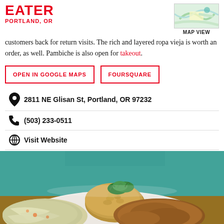EATER PORTLAND, OR
customers back for return visits. The rich and layered ropa vieja is worth an order, as well. Pambiche is also open for takeout.
OPEN IN GOOGLE MAPS | FOURSQUARE
2811 NE Glisan St, Portland, OR 97232
(503) 233-0511
Visit Website
[Figure (photo): Food photo showing a plate of Cuban food with rice, meat in sauce, and salad on a wooden table with a teal/mint painted wall background]